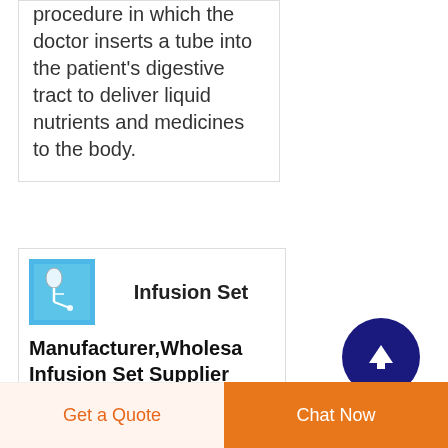procedure in which the doctor inserts a tube into the patient's digestive tract to deliver liquid nutrients and medicines to the body.
[Figure (illustration): Small blue square icon showing an infusion set (IV drip tube)]
Infusion Set
Manufacturer,Wholesale Infusion Set Supplier
Sign For Safety India Pvt Ltd are leading Manufacturer & Supplier of Infusion Set in Navi Mumbai Maharashtra India, Infusion Set Manufacturer in Navi Mumbai , Wholesale Infusion Set
Get a Quote
Chat Now